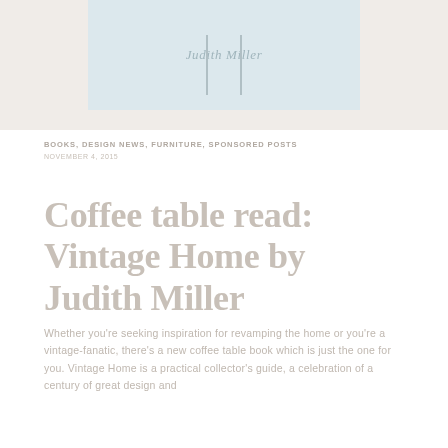[Figure (photo): Top portion of a book cover for 'Vintage Home by Judith Miller', light beige/cream colored with faded blue-gray tones, showing partial cover with the author name 'Judith Miller' visible in the center]
BOOKS, DESIGN NEWS, FURNITURE, SPONSORED POSTS
NOVEMBER 4, 2015
Coffee table read: Vintage Home by Judith Miller
Whether you're seeking inspiration for revamping the home or you're a vintage-fanatic, there's a new coffee table book which is just the one for you. Vintage Home is a practical collector's guide, a celebration of a century of great design and